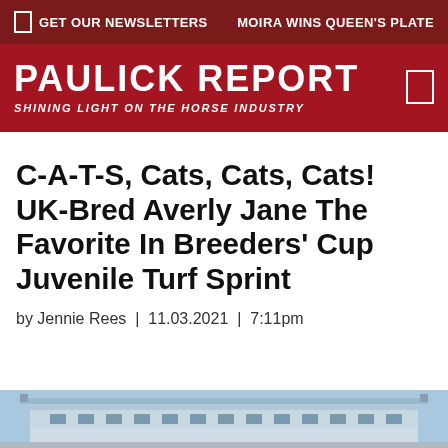GET OUR NEWSLETTERS   MOIRA WINS QUEEN'S PLATE
PAULICK REPORT — SHINING LIGHT ON THE HORSE INDUSTRY
C-A-T-S, Cats, Cats, Cats! UK-Bred Averly Jane The Favorite In Breeders' Cup Juvenile Turf Sprint
by Jennie Rees  |  11.03.2021  |  7:11pm
[Figure (photo): Bottom strip showing a racetrack grandstand building against a blue sky]